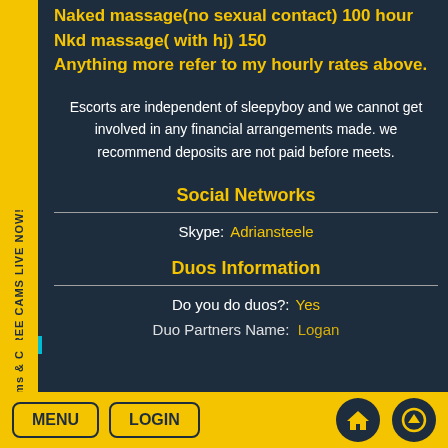Naked massage(no sexual contact) 100 hour
Nkd massage( with hj) 150
Anything more refer to my hourly rates above.
Escorts are independent of sleepyboy and we cannot get involved in any financial arrangements made. we recommend deposits are not paid before meets.
Social Networks
Skype:  Adriansteele
Duos Information
Do you do duos?:  Yes
Duo Partners Name:  Logan
MENU  LOGIN  [home icon]  [up icon]